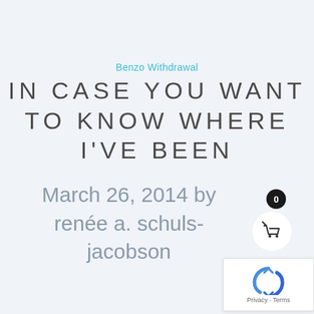Benzo Withdrawal
IN CASE YOU WANT TO KNOW WHERE I'VE BEEN
March 26, 2014 by renée a. schuls-jacobson
[Figure (other): Shopping cart icon with badge showing 0]
[Figure (other): reCAPTCHA widget with Privacy and Terms links]